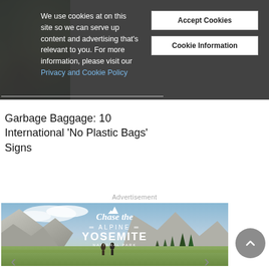We use cookies at on this site so we can serve up content and advertising that's relevant to you. For more information, please visit our Privacy and Cookie Policy
Accept Cookies
Cookie Information
Garbage Baggage: 10 International ‘No Plastic Bags’ Signs
Advertisement
[Figure (photo): Advertisement image for Chase the Alpine - Yosemite National Park, showing mountain landscape with two hikers in a meadow, trees and rocky cliffs in background. Text overlay reads 'Chase the ALPINE YOSEMITE NATIONAL PARK']